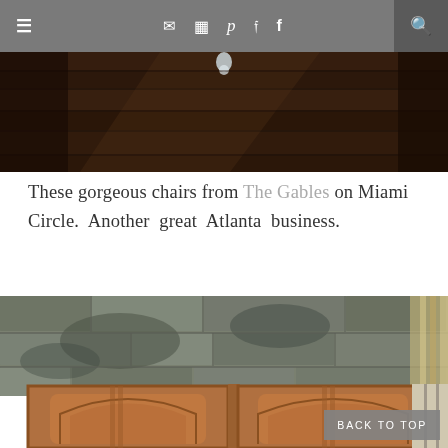≡  ✉ ☗ p ✦ f  🔍
[Figure (photo): Top photo showing dark wood floor viewed from above with a small white object visible]
These gorgeous chairs from The Gables on Miami Circle.  Another  great  Atlanta  business.
[Figure (photo): Photo of two ornate wooden cabinet doors with arched panels against a rustic stone wall, with a window visible on the right]
BACK TO TOP